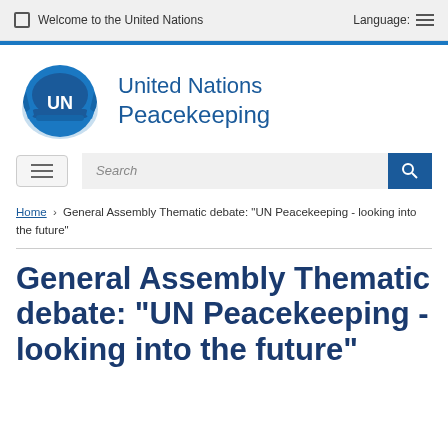Welcome to the United Nations   Language:
[Figure (logo): United Nations Peacekeeping logo — blue UN helmet emblem with olive branches]
United Nations Peacekeeping
Search
Home › General Assembly Thematic debate: "UN Peacekeeping - looking into the future"
General Assembly Thematic debate: "UN Peacekeeping - looking into the future"